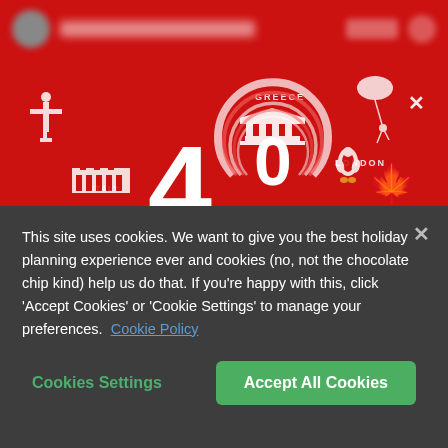[Figure (screenshot): Flight Centre website navigation bar with red background, blurred logo and title text, navigation buttons on right]
[Figure (illustration): Red promotional banner showing '40 EPIC HOLIDAYS TO WIN' with white illustrated icons of landmarks and destinations including Greece temple, London text, Italy Colosseum, Canada maple leaf, penguin, Brazil Christ the Redeemer statue, and a person kitesurfing]
This site uses cookies. We want to give you the best holiday planning experience ever and cookies (no, not the chocolate chip kind) help us do that. If you're happy with this, click 'Accept Cookies' or 'Cookie Settings' to manage your preferences. Cookie Policy
Cookies Settings
Accept All Cookies